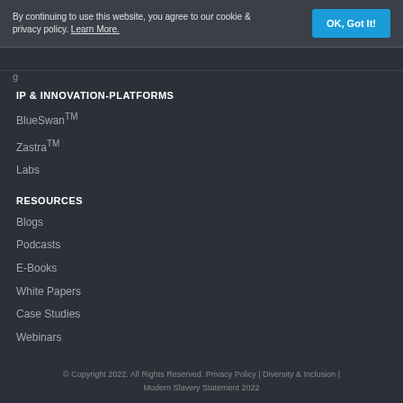By continuing to use this website, you agree to our cookie & privacy policy. Learn More.
OK, Got It!
IP & INNOVATION-PLATFORMS
BlueSwan™
Zastra™
Labs
RESOURCES
Blogs
Podcasts
E-Books
White Papers
Case Studies
Webinars
© Copyright 2022. All Rights Reserved. Privacy Policy | Diversity & Inclusion | Modern Slavery Statement 2022